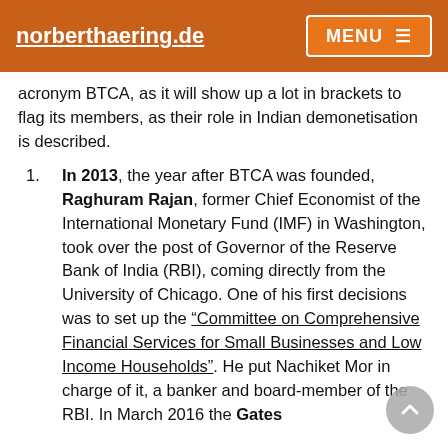norberthaering.de | MENU
acronym BTCA, as it will show up a lot in brackets to flag its members, as their role in Indian demonetisation is described.
In 2013, the year after BTCA was founded, Raghuram Rajan, former Chief Economist of the International Monetary Fund (IMF) in Washington, took over the post of Governor of the Reserve Bank of India (RBI), coming directly from the University of Chicago. One of his first decisions was to set up the “Committee on Comprehensive Financial Services for Small Businesses and Low Income Households”. He put Nachiket Mor in charge of it, a banker and board-member of the RBI. In March 2016 the Gates